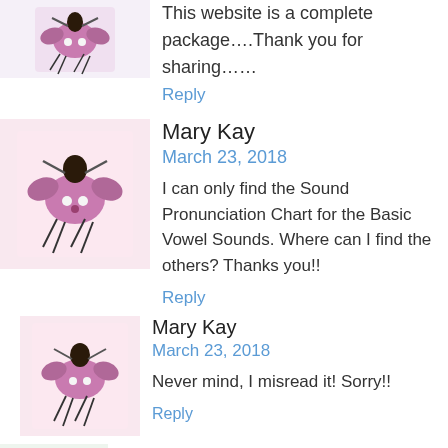This website is a complete package....Thank you for sharing......
Reply
Mary Kay
March 23, 2018
I can only find the Sound Pronunciation Chart for the Basic Vowel Sounds. Where can I find the others? Thanks you!!
Reply
Mary Kay
March 23, 2018
Never mind, I misread it! Sorry!!
Reply
Amy